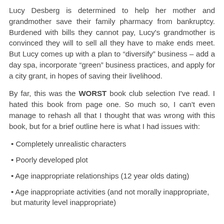Lucy Desberg is determined to help her mother and grandmother save their family pharmacy from bankruptcy. Burdened with bills they cannot pay, Lucy's grandmother is convinced they will to sell all they have to make ends meet. But Lucy comes up with a plan to “diversify” business – add a day spa, incorporate “green” business practices, and apply for a city grant, in hopes of saving their livelihood.
By far, this was the WORST book club selection I've read. I hated this book from page one. So much so, I can't even manage to rehash all that I thought that was wrong with this book, but for a brief outline here is what I had issues with:
• Completely unrealistic characters
• Poorly developed plot
• Age inappropriate relationships (12 year olds dating)
• Age inappropriate activities (and not morally inappropriate, but maturity level inappropriate)